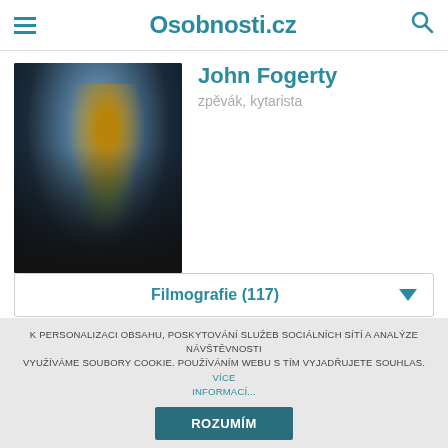Osobnosti.cz
[Figure (photo): Photo of John Fogerty playing guitar on stage]
John Fogerty
zpěvák, kytarista
Filmografie (117)
Herec
New Orleans Jazz & Heritage Festival (2014)
K PERSONALIZACI OBSAHU, POSKYTOVÁNÍ SLUŽEB SOCIÁLNÍCH SÍTÍ A ANALÝZE NÁVŠTĚVNOSTI VYUŽÍVÁME SOUBORY COOKIE. POUŽÍVÁNÍM WEBU S TÍM VYJADŘUJETE SOUHLAS. VÍCE INFORMACÍ...
ROZUMÍM